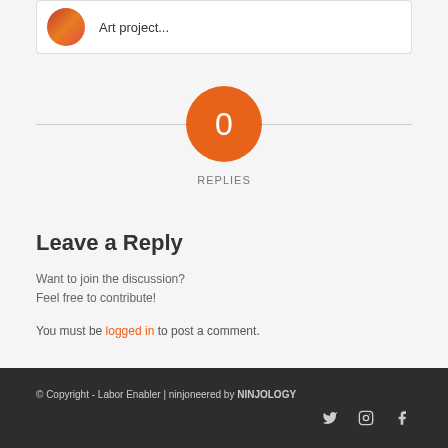Art project...
0 REPLIES
Leave a Reply
Want to join the discussion?
Feel free to contribute!
You must be logged in to post a comment.
© Copyright - Labor Enabler | ninjoneered by NINJOLOGY